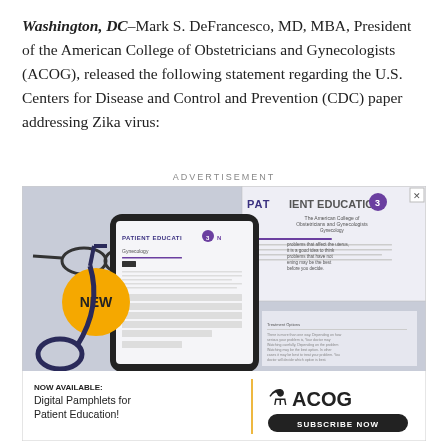Washington, DC–Mark S. DeFrancesco, MD, MBA, President of the American College of Obstetricians and Gynecologists (ACOG), released the following statement regarding the U.S. Centers for Disease and Control and Prevention (CDC) paper addressing Zika virus:
[Figure (photo): Advertisement banner showing a tablet device with 'PATIENT EDUCATION' document, a stethoscope, glasses, a yellow 'NEW' badge, and a paper with patient education content in the background. Bottom section shows 'NOW AVAILABLE: Digital Pamphlets for Patient Education!' with ACOG logo and 'SUBSCRIBE NOW' button.]